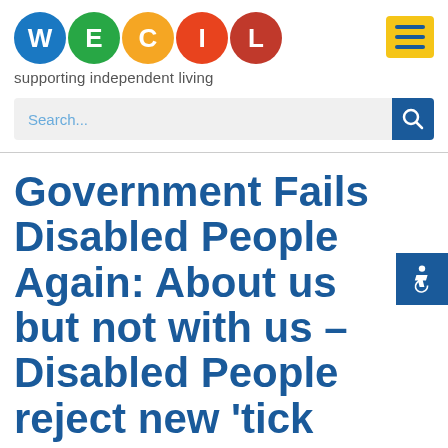[Figure (logo): WECIL logo with coloured circles spelling W-E-C-I-L and tagline 'supporting independent living']
[Figure (other): Yellow hamburger menu button with three dark blue horizontal lines]
Search...
Government Fails Disabled People Again: About us but not with us – Disabled People reject new 'tick